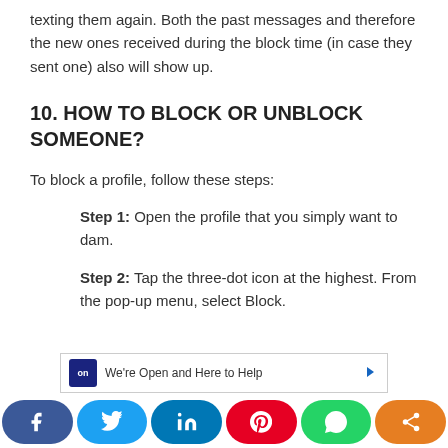texting them again. Both the past messages and therefore the new ones received during the block time (in case they sent one) also will show up.
10. HOW TO BLOCK OR UNBLOCK SOMEONE?
To block a profile, follow these steps:
Step 1: Open the profile that you simply want to dam.
Step 2: Tap the three-dot icon at the highest. From the pop-up menu, select Block.
[Figure (screenshot): Chat support widget showing 'We're Open and Here to Help' with a dark blue icon]